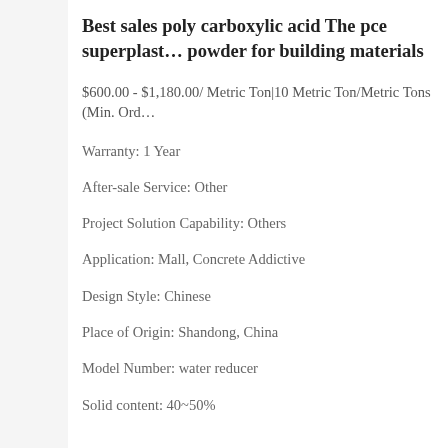Best sales poly carboxylic acid The pce superplasticizer powder for building materials
$600.00 - $1,180.00/ Metric Ton|10 Metric Ton/Metric Tons (Min. Order)
Warranty: 1 Year
After-sale Service: Other
Project Solution Capability: Others
Application: Mall, Concrete Addictive
Design Style: Chinese
Place of Origin: Shandong, China
Model Number: water reducer
Solid content: 40~50%